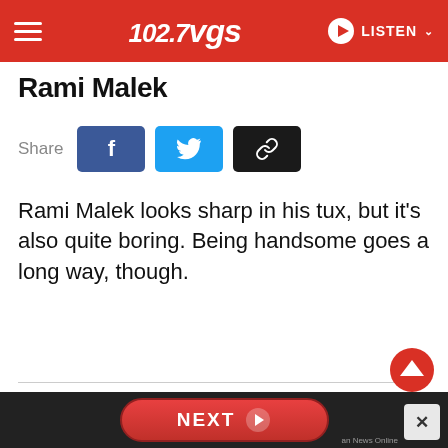102.7 VGS — LISTEN
Rami Malek
Share
Rami Malek looks sharp in his tux, but it's also quite boring. Being handsome goes a long way, though.
NEXT